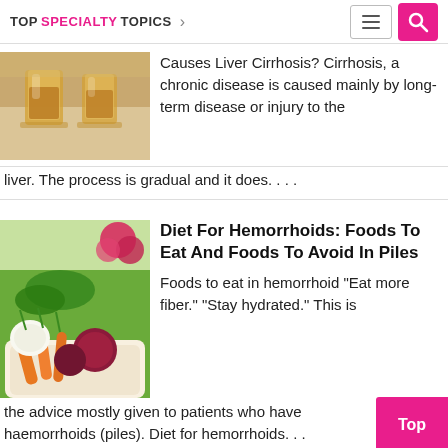TOP SPECIALTY TOPICS
[Figure (photo): Two glasses of amber liquid (whiskey/alcohol) on a table]
Causes Liver Cirrhosis? Cirrhosis, a chronic disease is caused mainly by long-term disease or injury to the liver. The process is gradual and it does. . . .
[Figure (photo): Fresh vegetables including carrots, beets, onions and greens in a basket]
Diet For Hemorrhoids: Foods To Eat And Foods To Avoid In Piles
Foods to eat in hemorrhoid "Eat more fiber." "Stay hydrated." This is the advice mostly given to patients who have haemorrhoids (piles). Diet for hemorrhoids. . .